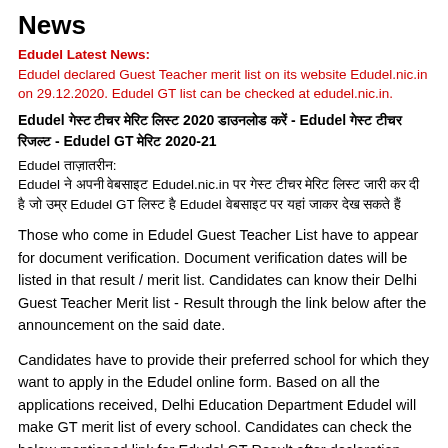News
Edudel Latest News:
Edudel declared Guest Teacher merit list on its website Edudel.nic.in on 29.12.2020. Edudel GT list can be checked at edudel.nic.in.
Edudel [Hindi text] 2020 [Hindi text] - Edudel [Hindi text] - Edudel GT [Hindi text] 2020-21
Edudel [Hindi text]:
Edudel [Hindi text] Edudel.nic.in [Hindi text] Edudel GT [Hindi text] Edudel [Hindi text]
Those who come in Edudel Guest Teacher List have to appear for document verification. Document verification dates will be listed in that result / merit list. Candidates can know their Delhi Guest Teacher Merit list - Result through the link below after the announcement on the said date.
Candidates have to provide their preferred school for which they want to apply in the Edudel online form. Based on all the applications received, Delhi Education Department Edudel will make GT merit list of every school. Candidates can check the below mentioned link for Edudel GT Result after declaration.